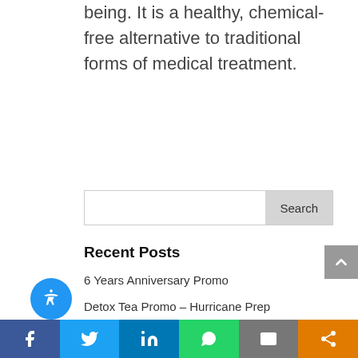being. It is a healthy, chemical-free alternative to traditional forms of medical treatment.
Search
Recent Posts
6 Years Anniversary Promo
Detox Tea Promo – Hurricane Prep
Detox Tea Promo – Schools Are In Session